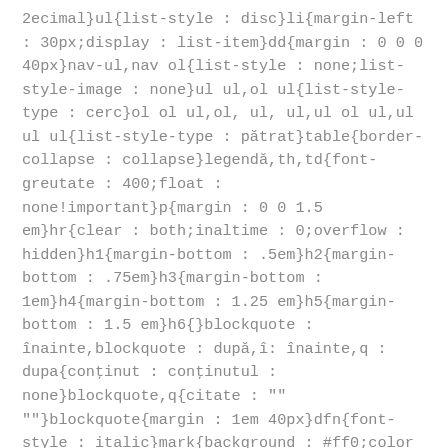2ecimal}ul{list-style : disc}li{margin-left : 30px;display : list-item}dd{margin : 0 0 0 40px}nav-ul,nav ol{list-style : none;list-style-image : none}ul ul,ol ul{list-style-type : cerc}ol ol ul,ol, ul, ul,ul ol ul,ul ul ul{list-style-type : pătrat}table{border-collapse : collapse}legendă,th,td{font-greutate : 400;float : none!important}p{margin : 0 0 1.5 em}hr{clear : both;inaltime : 0;overflow : hidden}h1{margin-bottom : .5em}h2{margin-bottom : .75em}h3{margin-bottom : 1em}h4{margin-bottom : 1.25 em}h5{margin-bottom : 1.5 em}h6{}blockquote : înainte,blockquote : după,î:înainte,q : dupa{conținut : conținutul : none}blockquote,q{citate : "" ""}blockquote{margin : 1em 40px}dfn{font-style : italic}mark{background : #ff0;color : #000}cod,kbd,pre,samp{font-family :